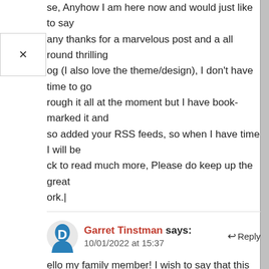se, Anyhow I am here now and would just like to say any thanks for a marvelous post and a all round thrilling og (I also love the theme/design), I don't have time to go rough it all at the moment but I have book-marked it and so added your RSS feeds, so when I have time I will be ck to read much more, Please do keep up the great ork.|
Garret Tinstman says: 10/01/2022 at 15:37 Reply
ello my family member! I wish to say that this article is amazing, great written and come with approximately all portant infos. I would like to see extra posts like this .|
נערות ליווי בחיפה says: Reply